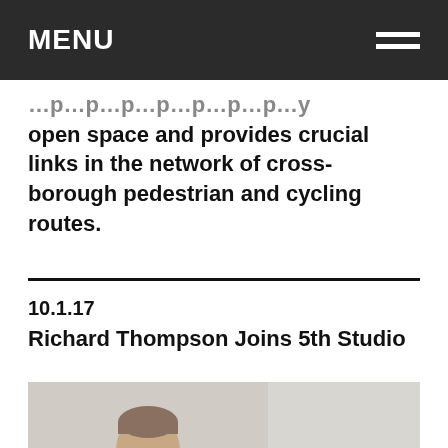MENU
open space and provides crucial links in the network of cross-borough pedestrian and cycling routes.
10.1.17
Richard Thompson Joins 5th Studio
[Figure (photo): Portrait photo of a man wearing glasses, shown from roughly the shoulders up against a light background.]